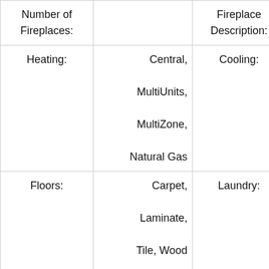| Label | Value | Label | Value |
| --- | --- | --- | --- |
| Number of Fireplaces: |  | Fireplace Description: | R... |
| Heating: | Central, MultiUnits, MultiZone, Natural Gas | Cooling: | Cen... MultiU... MultiZ... |
| Floors: | Carpet, Laminate, Tile, Wood | Laundry: | 220 Hook... Cabin... Gas H... Up, S... Upper F... |
| Additional Equipment: | Cable TV Available, U/C Internet... | Appliances: | Dishwas... Dispo... Duct... |